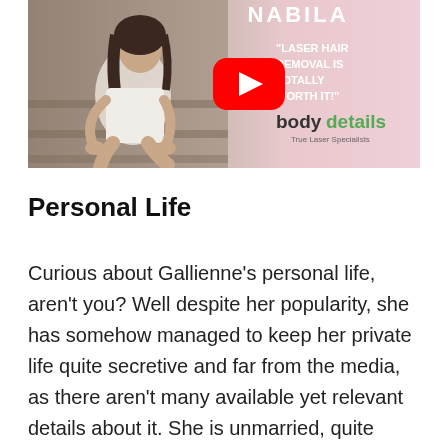[Figure (screenshot): YouTube video thumbnail/advertisement for Body Details laser hair removal featuring a woman sitting on steps and a YouTube play button overlay. Text reads: NABILA, 'LASER HAIR REMOVAL IS TOTALLY WORTH IT!' bodydetails True Laser Specialists]
Personal Life
Curious about Gallienne's personal life, aren't you? Well despite her popularity, she has somehow managed to keep her private life quite secretive and far from the media, as there aren't many available yet relevant details about it. She is unmarried, quite possibly currently single, and doesn't have